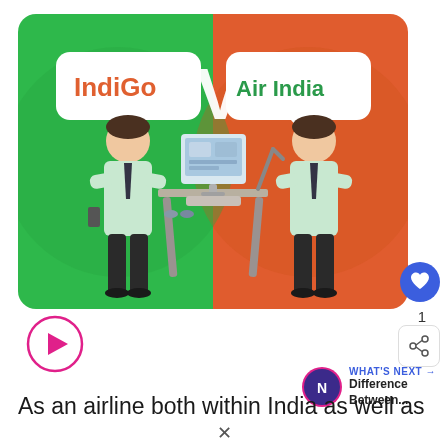[Figure (illustration): Comparison illustration showing two male figures in business attire facing each other across a desk with a computer. The left half has a green background with a speech bubble labeled 'IndiGo' in orange text. The right half has an orange-red background with a speech bubble labeled 'Air India' in green text. Large 'VS' text in white appears in the center top.]
[Figure (other): Pink circular play button icon]
[Figure (other): Blue circular heart/like button with count '1' below it, and a share button below that]
[Figure (other): What's Next panel with colorful icon and text 'Difference Between...']
As an airline both within India as well as